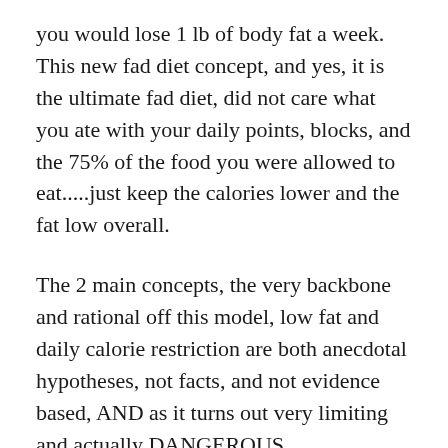you would lose 1 lb of body fat a week. This new fad diet concept, and yes, it is the ultimate fad diet, did not care what you ate with your daily points, blocks, and the 75% of the food you were allowed to eat.....just keep the calories lower and the fat low overall.
The 2 main concepts, the very backbone and rational off this model, low fat and daily calorie restriction are both anecdotal hypotheses, not facts, and not evidence based, AND as it turns out very limiting and actually DANGEROUS.
Calories do not determine metabolism. Fat is essential and when it gets too low it causes